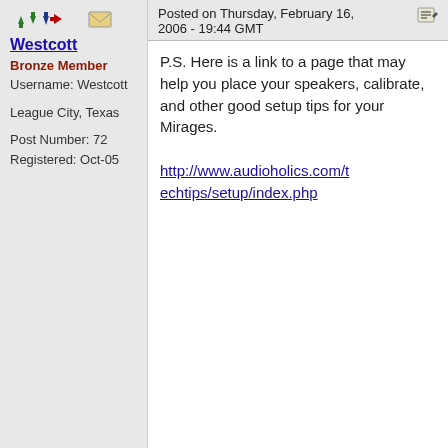Icons row (navigation arrows + envelope)
Westcott
Bronze Member
Username: Westcott
League City, Texas
Post Number: 72
Registered: Oct-05
Posted on Thursday, February 16, 2006 - 19:44 GMT
P.S. Here is a link to a page that may help you place your speakers, calibrate, and other good setup tips for your Mirages.

http://www.audioholics.com/techtips/setup/index.php
Icons row (navigation arrows + envelope)
pcdoctor
Bronze Member
Username: Pcdoctor
Post Number: 11
Registered: Aug-05
Posted on Thursday, February 16, 2006 - 22:48 GMT
Westcott,

My Dad help me run the wires above the ceiling tile. I can't remember how long it